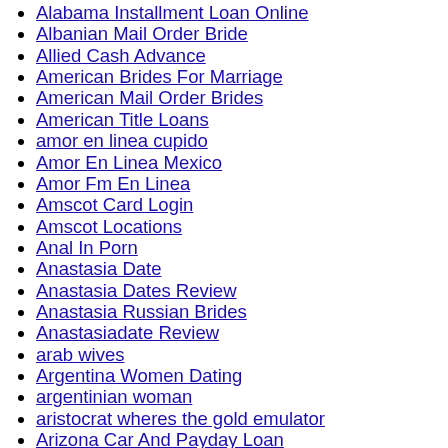Alabama Installment Loan Online
Albanian Mail Order Bride
Allied Cash Advance
American Brides For Marriage
American Mail Order Brides
American Title Loans
amor en linea cupido
Amor En Linea Mexico
Amor Fm En Linea
Amscot Card Login
Amscot Locations
Anal In Porn
Anastasia Date
Anastasia Dates Review
Anastasia Russian Brides
Anastasiadate Review
arab wives
Argentina Women Dating
argentinian woman
aristocrat wheres the gold emulator
Arizona Car And Payday Loan
Armenian Mail Order Bride
Ashley Madison Reviews
Asian Beauty Dating
Asian Bides
Asian Bridal Online